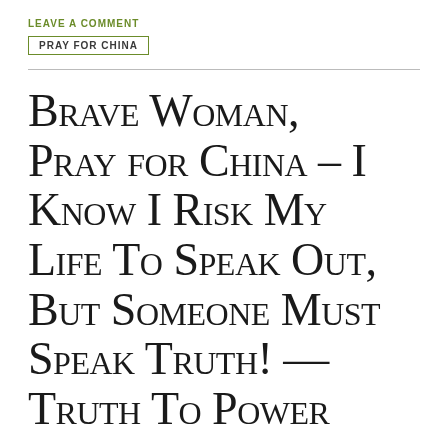LEAVE A COMMENT
PRAY FOR CHINA
Brave Woman, Pray for China – I Know I Risk My Life To Speak Out, But Someone Must Speak Truth! — Truth To Power
Not Celebration but Mourning